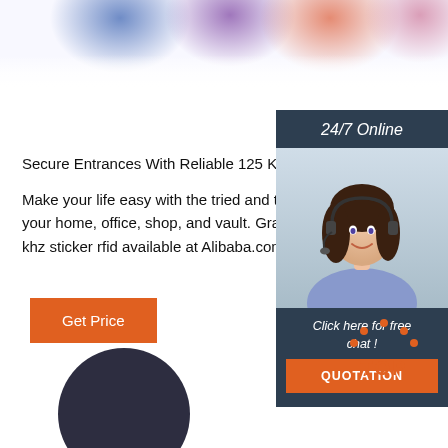[Figure (photo): Top strip showing colorful round objects (blue, purple, orange, pink) blurred on white background]
Secure Entrances With Reliable 125 Khz Sticker Rfi
Make your life easy with the tried and tested 125 kh your home, office, shop, and vault. Grand offers on a khz sticker rfid available at Alibaba.com.
[Figure (photo): Right sidebar with dark blue background showing: '24/7 Online' header, photo of smiling woman with headset, 'Click here for free chat!' text, and orange QUOTATION button]
[Figure (other): Orange 'Get Price' button]
[Figure (logo): Orange dotted arc above 'TOP' text in orange, forming a TOP scroll-back-to-top icon]
[Figure (photo): Partial dark circular shape at bottom left, appears to be a product or device]